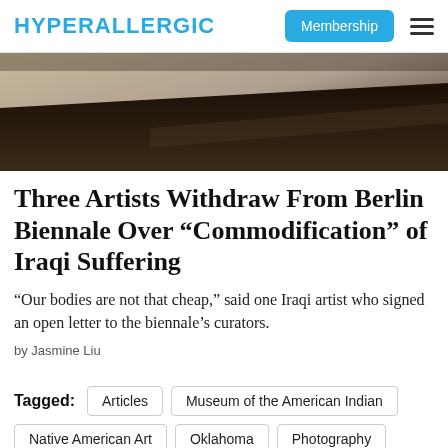HYPERALLERGIC | Membership ≡
[Figure (photo): Dark artwork or installation on a table surface, top portion of a hero image for the article]
Three Artists Withdraw From Berlin Biennale Over “Commodification” of Iraqi Suffering
“Our bodies are not that cheap,” said one Iraqi artist who signed an open letter to the biennale’s curators.
by Jasmine Liu
Tagged: Articles | Museum of the American Indian | Native American Art | Oklahoma | Photography